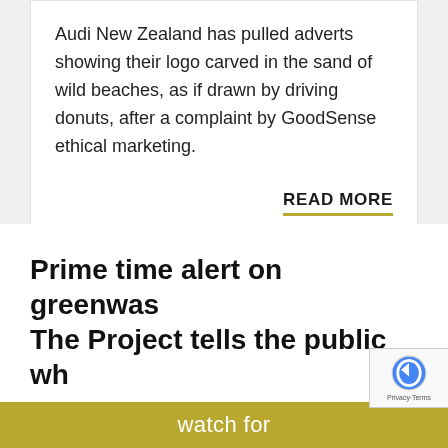Audi New Zealand has pulled adverts showing their logo carved in the sand of wild beaches, as if drawn by driving donuts, after a complaint by GoodSense ethical marketing.
READ MORE
WRITTEN BY: KATH DEWAR
Prime time alert on greenwas The Project tells the public wh
watch for